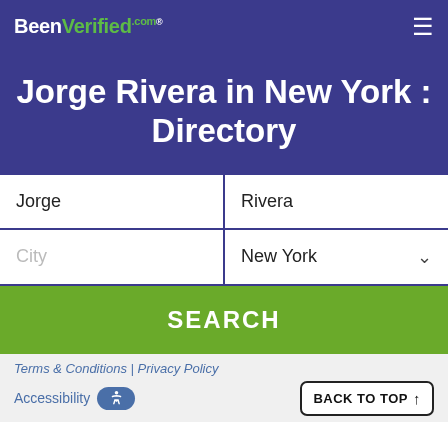BeenVerified.com
Jorge Rivera in New York : Directory
Jorge | Rivera
City | New York
SEARCH
Terms & Conditions | Privacy Policy
Accessibility
BACK TO TOP ↑